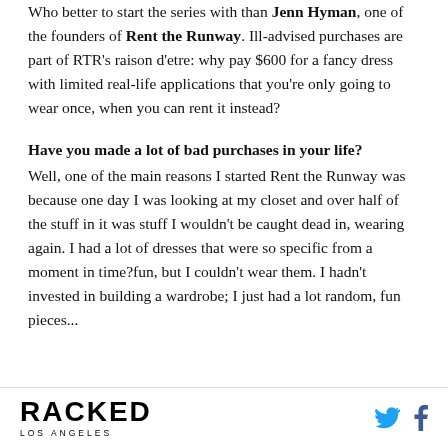Who better to start the series with than Jenn Hyman, one of the founders of Rent the Runway. Ill-advised purchases are part of RTR's raison d'etre: why pay $600 for a fancy dress with limited real-life applications that you're only going to wear once, when you can rent it instead?
Have you made a lot of bad purchases in your life?
Well, one of the main reasons I started Rent the Runway was because one day I was looking at my closet and over half of the stuff in it was stuff I wouldn't be caught dead in, wearing again. I had a lot of dresses that were so specific from a moment in time?fun, but I couldn't wear them. I hadn't invested in building a wardrobe; I just had a lot random, fun pieces...
RACKED LOS ANGELES